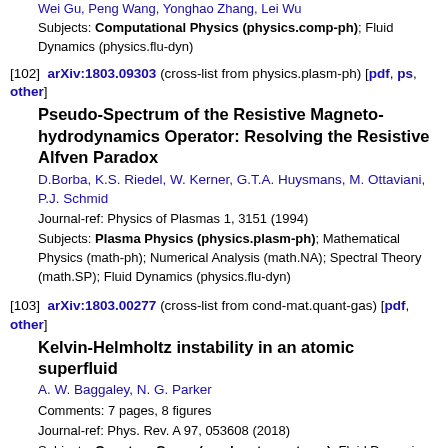Wei Gu, Peng Wang, Yonghao Zhang, Lei Wu
Subjects: Computational Physics (physics.comp-ph); Fluid Dynamics (physics.flu-dyn)
[102] arXiv:1803.09303 (cross-list from physics.plasm-ph) [pdf, ps, other]
Pseudo-Spectrum of the Resistive Magneto-hydrodynamics Operator: Resolving the Resistive Alfven Paradox
D.Borba, K.S. Riedel, W. Kerner, G.T.A. Huysmans, M. Ottaviani, P.J. Schmid
Journal-ref: Physics of Plasmas 1, 3151 (1994)
Subjects: Plasma Physics (physics.plasm-ph); Mathematical Physics (math-ph); Numerical Analysis (math.NA); Spectral Theory (math.SP); Fluid Dynamics (physics.flu-dyn)
[103] arXiv:1803.00277 (cross-list from cond-mat.quant-gas) [pdf, other]
Kelvin-Helmholtz instability in an atomic superfluid
A. W. Baggaley, N. G. Parker
Comments: 7 pages, 8 figures
Journal-ref: Phys. Rev. A 97, 053608 (2018)
Subjects: Quantum Gases (cond-mat.quant-gas); Fluid Dynamics (physics.flu-dyn)